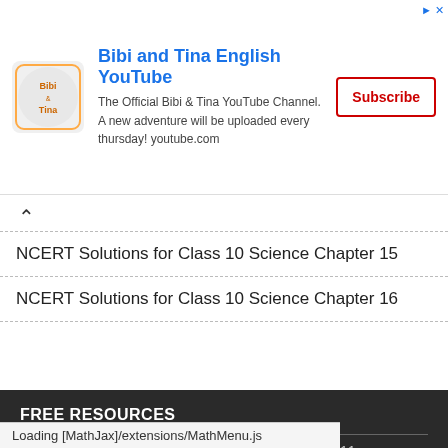[Figure (other): Advertisement banner for Bibi and Tina English YouTube channel with logo, description text, and Subscribe button]
NCERT Solutions for Class 10 Science Chapter 15
NCERT Solutions for Class 10 Science Chapter 16
FREE RESOURCES
RD Sharma Class 12 Solutions
RD Sharma Class 11
Loading [MathJax]/extensions/MathMenu.js